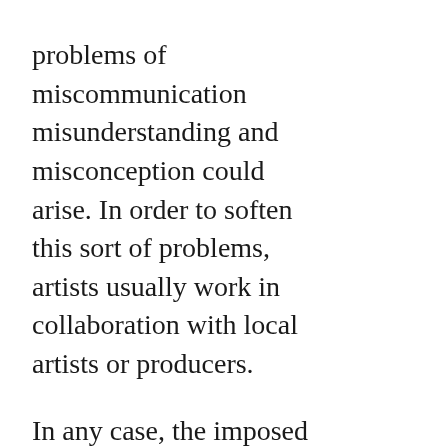problems of miscommunication misunderstanding and misconception could arise. In order to soften this sort of problems, artists usually work in collaboration with local artists or producers.
In any case, the imposed location raises some challenges to artists that should